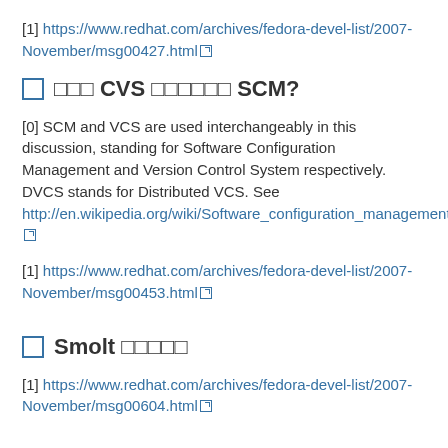[1] https://www.redhat.com/archives/fedora-devel-list/2007-November/msg00427.html
□ □□□ CVS □□□□□□ SCM?
[0] SCM and VCS are used interchangeably in this discussion, standing for Software Configuration Management and Version Control System respectively. DVCS stands for Distributed VCS. See http://en.wikipedia.org/wiki/Software_configuration_management
[1] https://www.redhat.com/archives/fedora-devel-list/2007-November/msg00453.html
□ Smolt □□□□□
[1] https://www.redhat.com/archives/fedora-devel-list/2007-November/msg00604.html